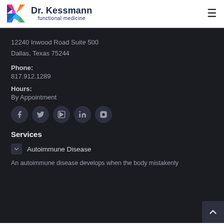[Figure (logo): Dr. Kessmann functional medicine logo with colorful K and dark blue text]
12240 Inwood Road Suite 500
Dallas, Texas 75244
Phone:
817.912.1289
Hours:
By Appointment
[Figure (infographic): Social media icons: Facebook, Twitter, YouTube, LinkedIn, Instagram in dark circular buttons]
Services
Autoimmune Disease
An autoimmune disease develops when the body mistakenly